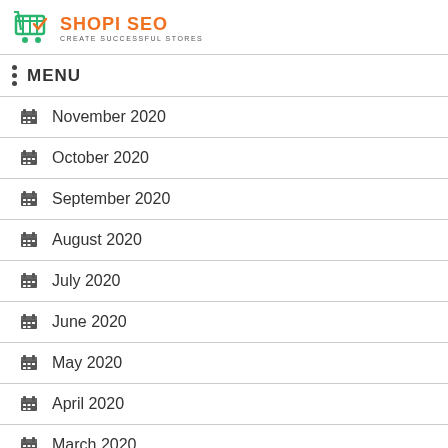SHOPI SEO — CREATE SUCCESSFUL STORES
MENU
November 2020
October 2020
September 2020
August 2020
July 2020
June 2020
May 2020
April 2020
March 2020